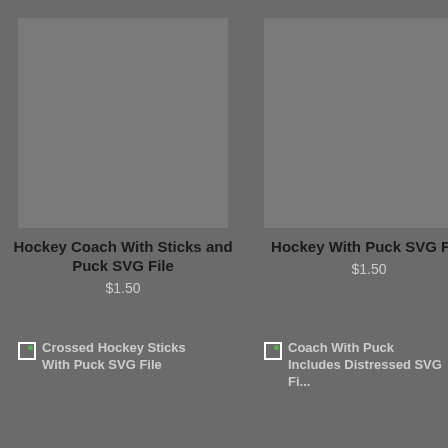[Figure (photo): Gray placeholder image box for Hockey Coach With Sticks and Puck SVG File product]
Hockey Coach With Sticks and Puck SVG File
$1.50
[Figure (photo): Gray placeholder image box for Hockey With Puck SVG File product]
Hockey With Puck SVG File
$1.50
[Figure (photo): Broken image placeholder for Crossed Hockey Sticks With Puck SVG File]
Crossed Hockey Sticks With Puck SVG File
[Figure (photo): Broken image placeholder for Coach With Puck Includes Distressed SVG File]
Coach With Puck Includes Distressed SVG File